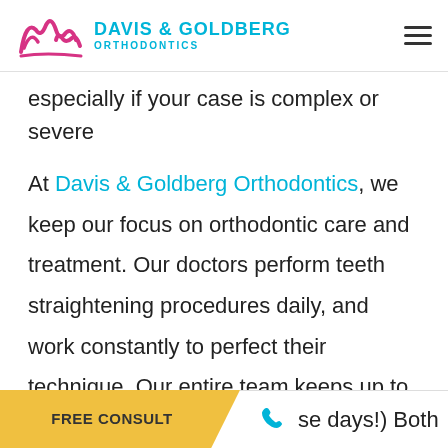Davis & Goldberg Orthodontics
especially if your case is complex or severe
At Davis & Goldberg Orthodontics, we keep our focus on orthodontic care and treatment. Our doctors perform teeth straightening procedures daily, and work constantly to perfect their technique. Our entire team keeps up to date on the latest in industry practice by regularly attending continuing education courses, whether in-person
se days!) Both
FREE CONSULT